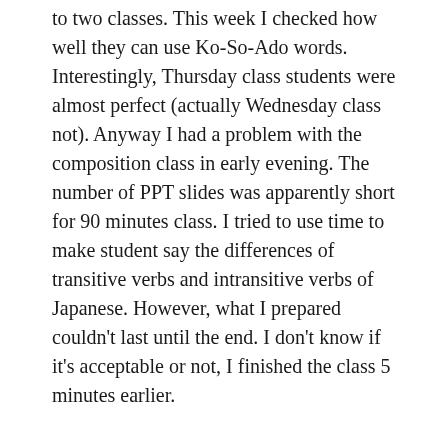to two classes. This week I checked how well they can use Ko-So-Ado words. Interestingly, Thursday class students were almost perfect (actually Wednesday class not). Anyway I had a problem with the composition class in early evening. The number of PPT slides was apparently short for 90 minutes class. I tried to use time to make student say the differences of transitive verbs and intransitive verbs of Japanese. However, what I prepared couldn't last until the end. I don't know if it's acceptable or not, I finished the class 5 minutes earlier.
Friday:
Two composition classes for 2nd grade are on Thursday and Friday. They must be the same. But I